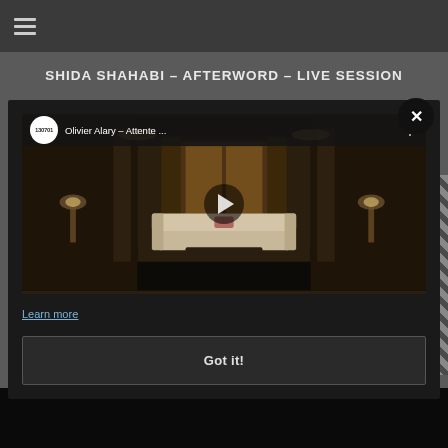≡
SHIDA SHAHABI - AFTERWORD - LIVE SESSION
[Figure (screenshot): YouTube video thumbnail showing 'Olivier Alary - Attente' with channel logo '130701', a play button overlay on a dimly lit elegant room scene with sofa, lamps, curtains and chandeliers. Below the video are a 'Learn more' hyperlink and a 'Got it!' button, forming a cookie consent modal overlay.]